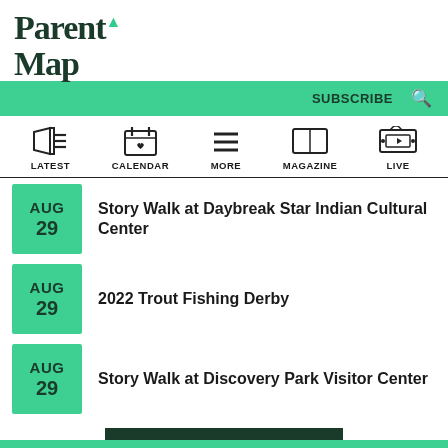ParentMap
SUBSCRIBE
LATEST
CALENDAR
MORE
MAGAZINE
LIVE
AUG 29 — Story Walk at Daybreak Star Indian Cultural Center
AUG 29 — 2022 Trout Fishing Derby
AUG 29 — Story Walk at Discovery Park Visitor Center
FIND YOUR FUN ▶